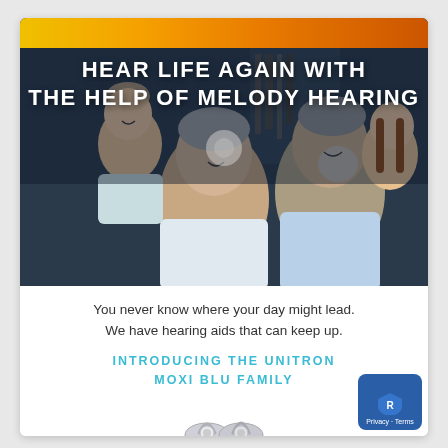[Figure (photo): Family photo showing grandparents smiling and playing with grandchildren, with overlay text 'HEAR LIFE AGAIN WITH THE HELP OF MELODY HEARING'. A gradient color bar (yellow to orange) appears at the top of the image.]
You never know where your day might lead.
We have hearing aids that can keep up.
INTRODUCING THE UNITRON MOXI BLU FAMILY
[Figure (photo): Hearing aid device shown at bottom of page]